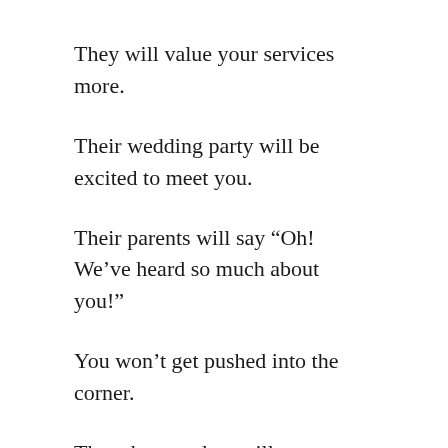They will value your services more.
Their wedding party will be excited to meet you.
Their parents will say “Oh! We’ve heard so much about you!”
You won’t get pushed into the corner.
The other vendors will respect you.
The party will be incredible.
According to the 2016 Global Wedding Market Report from Splendid Insights, the possibility...